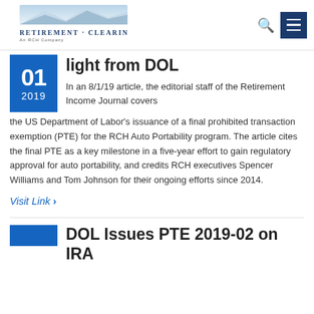Retirement Clearinghouse
light from DOL
In an 8/1/19 article, the editorial staff of the Retirement Income Journal covers the US Department of Labor's issuance of a final prohibited transaction exemption (PTE) for the RCH Auto Portability program. The article cites the final PTE as a key milestone in a five-year effort to gain regulatory approval for auto portability, and credits RCH executives Spencer Williams and Tom Johnson for their ongoing efforts since 2014.
Visit Link >
DOL Issues PTE 2019-02 on IRA